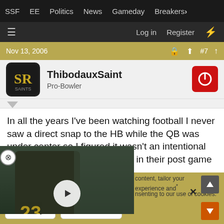SSF  EE  Politics  News  Gameday  Breakers
☰  Log in  Register  ⚡
Nov 13, 2006  🔒  ⬆  #7  ↑
ThibodauxSaint
Pro-Bowler
In all the years I've been watching football I never saw a direct snap to the HB while the QB was under center so I figured it wasn't an intentional play. Brees and Deuce both [said the same thing] in their post game
[Figure (screenshot): Video thumbnail of a New Orleans Saints player wearing jersey #23, with a play button overlay]
content, tailor your experience and...
nsenting to our use of cookies.
Jacob
✓ Accept   Learn more...